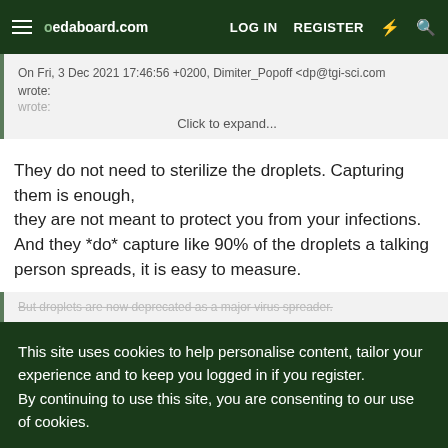edaboard.com | LOG IN | REGISTER
On Fri, 3 Dec 2021 17:46:56 +0200, Dimiter_Popoff <dp@tgi-sci.com wrote:
Click to expand...
They do not need to sterilize the droplets. Capturing them is enough,
they are not meant to protect you from your infections.
And they *do* capture like 90% of the droplets a talking person spreads, it is easy to measure.
But droplets are now deprecated as a major virus spreader.
This site uses cookies to help personalise content, tailor your experience and to keep you logged in if you register.
By continuing to use this site, you are consenting to our use of cookies.